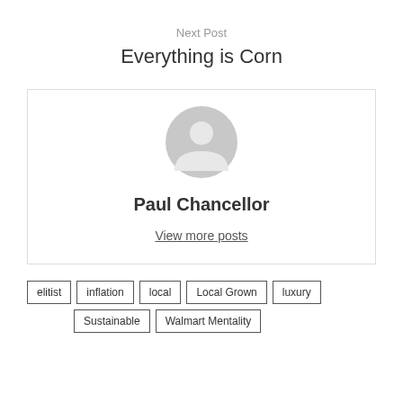Next Post
Everything is Corn
[Figure (illustration): Default user avatar icon — grey circle with a person silhouette]
Paul Chancellor
View more posts
elitist
inflation
local
Local Grown
luxury
Sustainable
Walmart Mentality